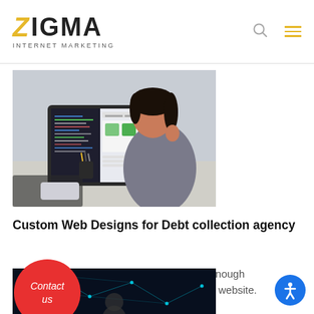[Figure (logo): ZIGMA Internet Marketing logo with gold Z and black text]
[Figure (photo): Woman sitting at a desk working at a computer monitor displaying a website]
Custom Web Designs for Debt collection agency
Having a visually appealing website is not enough want to generate leads to your website.
[Figure (photo): Contact us red circular button overlay]
[Figure (photo): Dark blue network/tech background image strip at bottom]